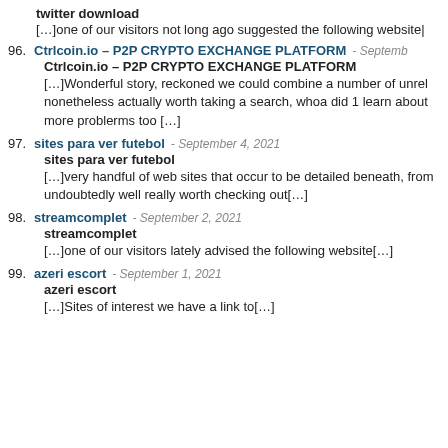twitter download
[...]one of our visitors not long ago suggested the following website|
96. Ctrlcoin.io – P2P CRYPTO EXCHANGE PLATFORM - September ...
Ctrlcoin.io – P2P CRYPTO EXCHANGE PLATFORM
[...]Wonderful story, reckoned we could combine a number of unrel... nonetheless actually worth taking a search, whoa did 1 learn about more problerms too [...]
97. sites para ver futebol - September 4, 2021
sites para ver futebol
[...]very handful of web sites that occur to be detailed beneath, from... undoubtedly well really worth checking out[...]
98. streamcomplet - September 2, 2021
streamcomplet
[...]one of our visitors lately advised the following website[...]
99. azeri escort - September 1, 2021
azeri escort
[...]Sites of interest we have a link to[...]